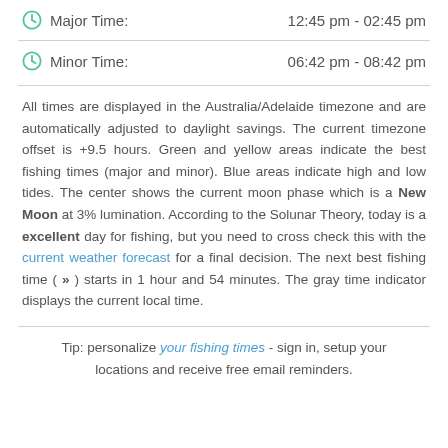Major Time: 12:45 pm - 02:45 pm
Minor Time: 06:42 pm - 08:42 pm
All times are displayed in the Australia/Adelaide timezone and are automatically adjusted to daylight savings. The current timezone offset is +9.5 hours. Green and yellow areas indicate the best fishing times (major and minor). Blue areas indicate high and low tides. The center shows the current moon phase which is a New Moon at 3% lumination. According to the Solunar Theory, today is a excellent day for fishing, but you need to cross check this with the current weather forecast for a final decision. The next best fishing time ( » ) starts in 1 hour and 54 minutes. The gray time indicator displays the current local time.
Tip: personalize your fishing times - sign in, setup your locations and receive free email reminders.